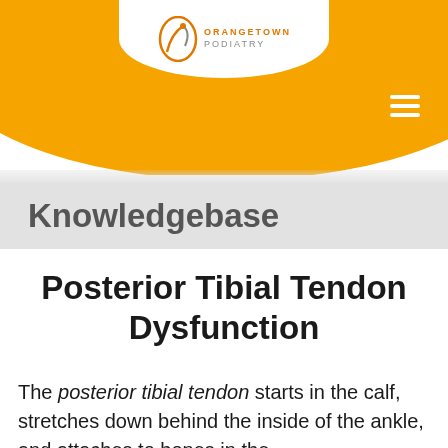[Figure (logo): Orangetown Podiatry logo with stylized foot icon and text in orange and grey]
Knowledgebase
Posterior Tibial Tendon Dysfunction
The posterior tibial tendon starts in the calf, stretches down behind the inside of the ankle, and attaches to bones in the